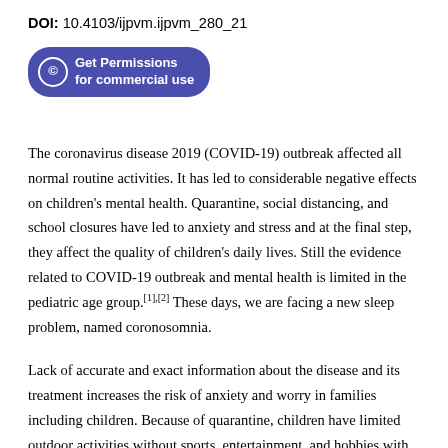DOI: 10.4103/ijpvm.ijpvm_280_21
[Figure (other): Button: Get Permissions for commercial use]
The coronavirus disease 2019 (COVID-19) outbreak affected all normal routine activities. It has led to considerable negative effects on children's mental health. Quarantine, social distancing, and school closures have led to anxiety and stress and at the final step, they affect the quality of children's daily lives. Still the evidence related to COVID-19 outbreak and mental health is limited in the pediatric age group.[1],[2] These days, we are facing a new sleep problem, named coronosomnia.
Lack of accurate and exact information about the disease and its treatment increases the risk of anxiety and worry in families including children. Because of quarantine, children have limited outdoor activities without sports, entertainment, and hobbies with their friends. Thus, it is important to manage the anxiety of children in COVID-19 crisis. Mental disorders and consequent sleep difficulties would increase the problems of daytime well-being and sleep. However, more